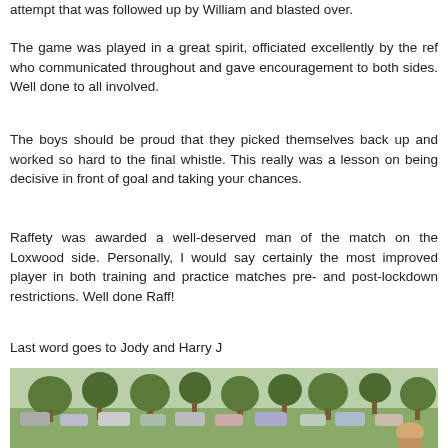attempt that was followed up by William and blasted over.
The game was played in a great spirit, officiated excellently by the ref who communicated throughout and gave encouragement to both sides. Well done to all involved.
The boys should be proud that they picked themselves back up and worked so hard to the final whistle. This really was a lesson on being decisive in front of goal and taking your chances.
Raffety was awarded a well-deserved man of the match on the Loxwood side. Personally, I would say certainly the most improved player in both training and practice matches pre- and post-lockdown restrictions. Well done Raff!
Last word goes to Jody and Harry J
[Figure (photo): Outdoor photo showing trees, parked cars, and people on what appears to be a playing field area on a sunny day.]